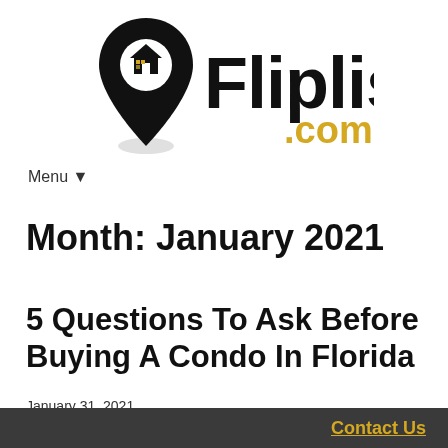[Figure (logo): Fliplist.com logo with house icon inside a location pin, and '.com' in gold/yellow color]
Menu ▼
Month: January 2021
5 Questions To Ask Before Buying A Condo In Florida
January 31, 2021
By guy.webuyusahomes@gmail.com
Contact Us